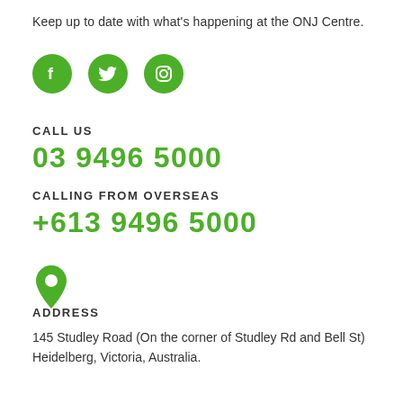Keep up to date with what's happening at the ONJ Centre.
[Figure (infographic): Three green circular social media icons: Facebook (f), Twitter (bird), Instagram (camera)]
CALL US
03 9496 5000
CALLING FROM OVERSEAS
+613 9496 5000
[Figure (illustration): Green map pin / location marker icon]
ADDRESS
145 Studley Road (On the corner of Studley Rd and Bell St) Heidelberg, Victoria, Australia.